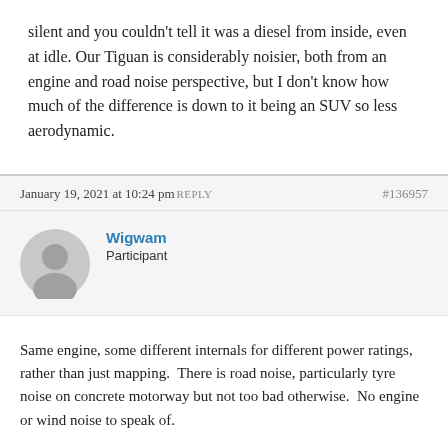silent and you couldn't tell it was a diesel from inside, even at idle. Our Tiguan is considerably noisier, both from an engine and road noise perspective, but I don't know how much of the difference is down to it being an SUV so less aerodynamic.
January 19, 2021 at 10:24 pmREPLY #136957
Wigwam
Participant
Same engine, some different internals for different power ratings, rather than just mapping.  There is road noise, particularly tyre noise on concrete motorway but not too bad otherwise.  No engine or wind noise to speak of.
January 19, 2021 at 10:39 pmREPLY #136958
Glos Guy
Participant